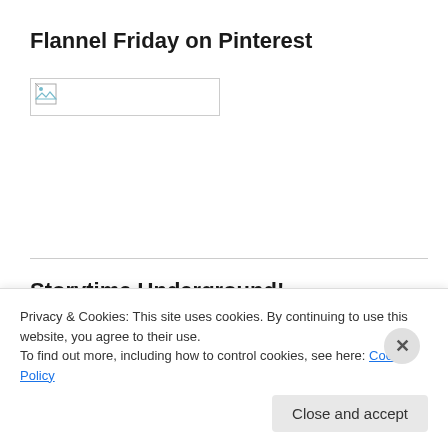Flannel Friday on Pinterest
[Figure (illustration): Broken image placeholder (small icon with landscape image symbol) inside a rectangular border]
Storytime Underground!
[Figure (illustration): Broken image placeholder inside a rectangular border]
Privacy & Cookies: This site uses cookies. By continuing to use this website, you agree to their use.
To find out more, including how to control cookies, see here: Cookie Policy
Close and accept